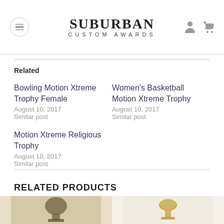Suburban Custom Awards
Related
Bowling Motion Xtreme Trophy Female
August 10, 2017
Similar post
Women's Basketball Motion Xtreme Trophy
August 10, 2017
Similar post
Motion Xtreme Religious Trophy
August 10, 2017
Similar post
RELATED PRODUCTS
[Figure (photo): Product photo left - trophy with dark background]
[Figure (photo): Product photo right - trophy on light background]